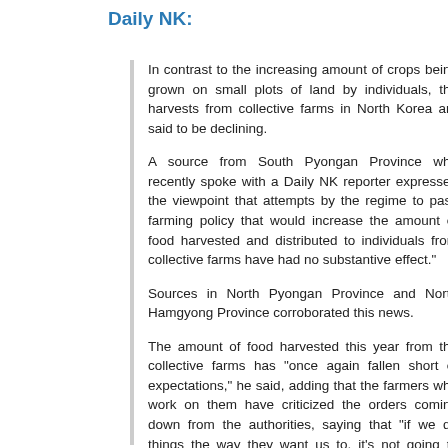Daily NK:
In contrast to the increasing amount of crops being grown on small plots of land by individuals, the harvests from collective farms in North Korea are said to be declining.
A source from South Pyongan Province who recently spoke with a Daily NK reporter expressed the viewpoint that attempts by the regime to pass farming policy that would increase the amount of food harvested and distributed to individuals from collective farms have had no substantive effect.
Sources in North Pyongan Province and North Hamgyong Province corroborated this news.
The amount of food harvested this year from the collective farms has “once again fallen short of expectations,” he said, adding that the farmers who work on them have criticized the orders coming down from the authorities, saying that “if we do things the way they want us to, it’s not going to work.”
Although the regime has forced people to mobilize, the source asserted that farm yields are not increasing. So, then, “the best thing to do would be to further divide the land up among individuals,” he posited.
Our source wondered if individual farms were not more successful because each person tending them personally grew and watered their plants. Currently, farmers must follow directives regarding the amount of water they can use on collective farms. He warned that if the authorities...